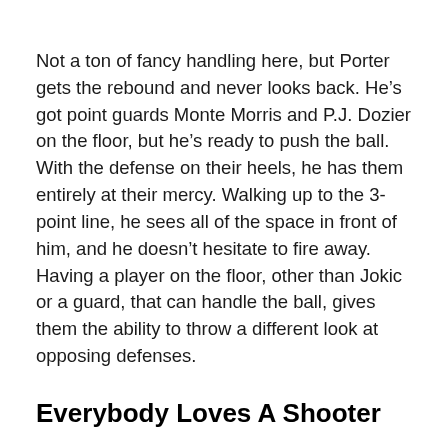Not a ton of fancy handling here, but Porter gets the rebound and never looks back. He’s got point guards Monte Morris and P.J. Dozier on the floor, but he’s ready to push the ball. With the defense on their heels, he has them entirely at their mercy. Walking up to the 3-point line, he sees all of the space in front of him, and he doesn’t hesitate to fire away. Having a player on the floor, other than Jokic or a guard, that can handle the ball, gives them the ability to throw a different look at opposing defenses.
Everybody Loves A Shooter